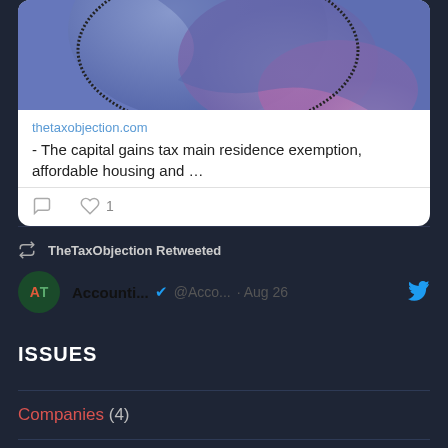[Figure (screenshot): Partial tweet card showing a link preview with blue/purple abstract image, URL thetaxobjection.com, and text about capital gains tax main residence exemption, affordable housing. Below is a like count of 1, then a retweet indicator showing TheTaxObjection Retweeted, and Accounti... @Acco... · Aug 26 with Twitter bird icon.]
ISSUES
Companies (4)
GST (4)
Income tax advice (3)